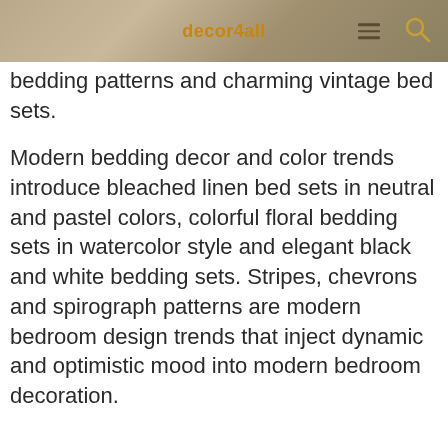decor4all
bedding patterns and charming vintage bed sets.
Modern bedding decor and color trends introduce bleached linen bed sets in neutral and pastel colors, colorful floral bedding sets in watercolor style and elegant black and white bedding sets. Stripes, chevrons and spirograph patterns are modern bedroom design trends that inject dynamic and optimistic mood into modern bedroom decoration.